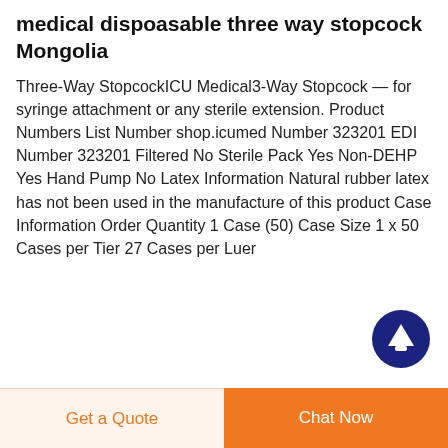medical dispoasable three way stopcock Mongolia
Three-Way StopcockICU Medical3-Way Stopcock — for syringe attachment or any sterile extension. Product Numbers List Number shop.icumed Number 323201 EDI Number 323201 Filtered No Sterile Pack Yes Non-DEHP Yes Hand Pump No Latex Information Natural rubber latex has not been used in the manufacture of this product Case Information Order Quantity 1 Case (50) Case Size 1 x 50 Cases per Tier 27 Cases per Luer